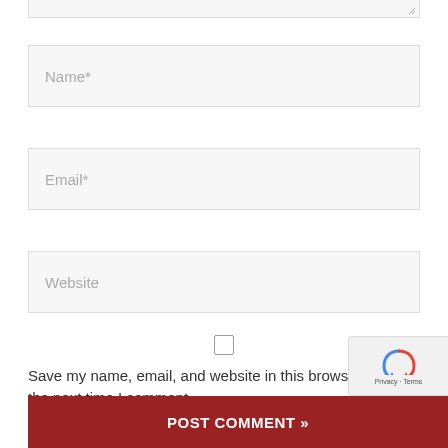[Figure (screenshot): Partial textarea input box at the top of the page with resize handle]
Name*
Email*
Website
Save my name, email, and website in this browser for the next time I comment.
[Figure (screenshot): reCAPTCHA badge with Privacy and Terms links]
POST COMMENT »